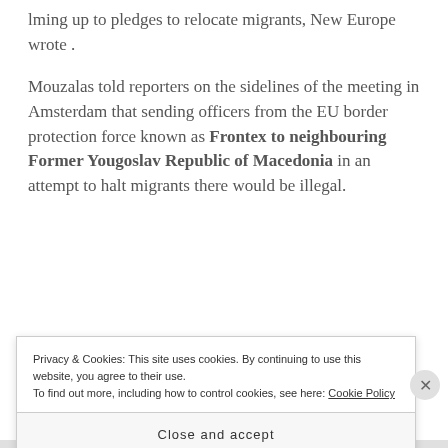lming up to pledges to relocate migrants, New Europe wrote .
Mouzalas told reporters on the sidelines of the meeting in Amsterdam that sending officers from the EU border protection force known as Frontex to neighbouring Former Yougoslav Republic of Macedonia in an attempt to halt migrants there would be illegal.
[Figure (screenshot): Advertisement screenshot showing 'on the go.' text on dark background with a podcast/content card on the right side showing 'Around the World with Pam']
Privacy & Cookies: This site uses cookies. By continuing to use this website, you agree to their use. To find out more, including how to control cookies, see here: Cookie Policy
Close and accept